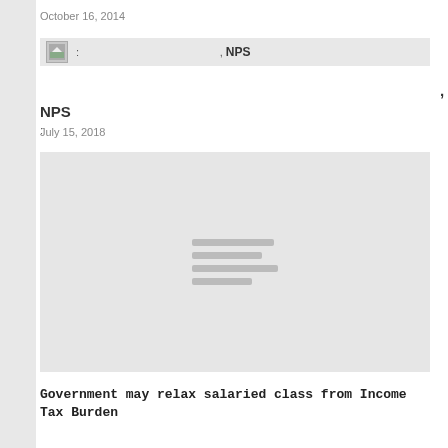October 16, 2014
[Figure (screenshot): Grey banner/link bar with small image icon on left, colon separator, and ', NPS' text on right]
, NPS
:
July 15, 2018
[Figure (photo): Large grey placeholder image block with four horizontal grey lines in the center]
Government may relax salaried class from Income Tax Burden